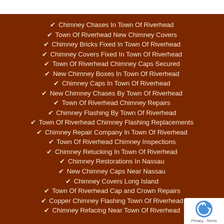✔ Chimney Chases In Town Of Riverhead
✔ Town Of Riverhead New Chimney Covers
✔ Chimney Bricks Fixed In Town Of Riverhead
✔ Chimney Covers Fixed In Town Of Riverhead
✔ Town Of Riverhead Chimney Caps Secured
✔ New Chimney Boxes In Town Of Riverhead
✔ Chimney Caps In Town Of Riverhead
✔ New Chimney Chases By Town Of Riverhead
✔ Town Of Riverhead Chimney Repairs
✔ Chimney Flashing By Town Of Riverhead
✔ Town Of Riverhead Chimney Flashing Replacements
✔ Chimney Repair Company In Town Of Riverhead
✔ Town Of Riverhead Chimney Inspections
✔ Chimney Retucking In Town Of Riverhead
✔ Chimney Restorations In Nassau
✔ New Chimney Caps Near Nassau
✔ Chimney Covers Long Island
✔ Town Of Riverhead Cap and Crown Repa…
✔ Copper Chimney Flashing Town Of Riverhe…
✔ Chimney Refacing Near Town Of Riverhead